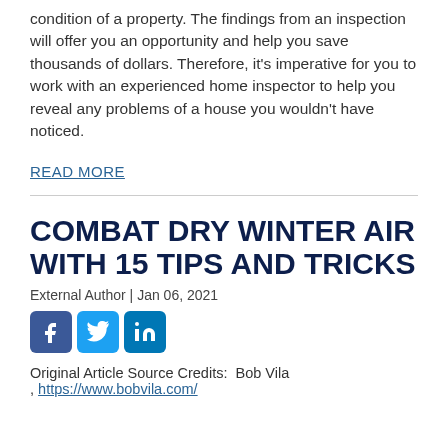condition of a property. The findings from an inspection will offer you an opportunity and help you save thousands of dollars. Therefore, it's imperative for you to work with an experienced home inspector to help you reveal any problems of a house you wouldn't have noticed.
READ MORE
COMBAT DRY WINTER AIR WITH 15 TIPS AND TRICKS
External Author | Jan 06, 2021
[Figure (other): Social media share icons for Facebook, Twitter, and LinkedIn]
Original Article Source Credits:  Bob Vila , https://www.bobvila.com/